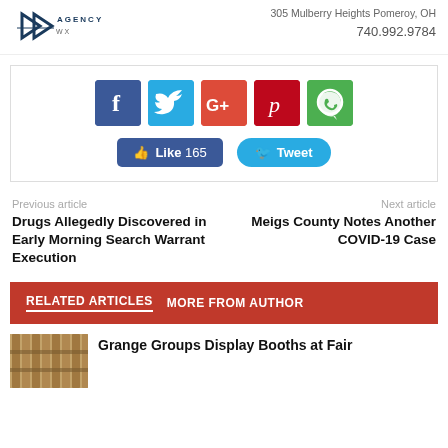[Figure (logo): WX Agency logo with chevron/arrow mark and agency text]
305 Mulberry Heights Pomeroy, OH
740.992.9784
[Figure (infographic): Social media share buttons: Facebook, Twitter, Google+, Pinterest, WhatsApp icons, and Like 165 / Tweet buttons]
Previous article
Drugs Allegedly Discovered in Early Morning Search Warrant Execution
Next article
Meigs County Notes Another COVID-19 Case
RELATED ARTICLES   MORE FROM AUTHOR
Grange Groups Display Booths at Fair